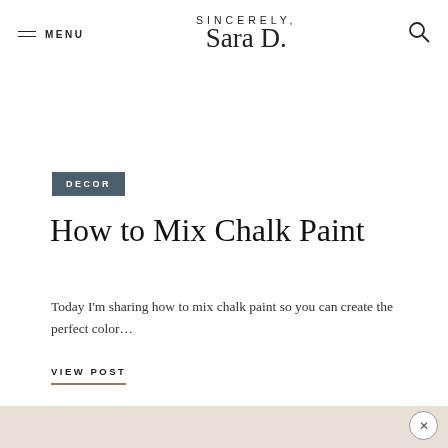SINCERELY, Sara D.
DECOR
How to Mix Chalk Paint
Today I'm sharing how to mix chalk paint so you can create the perfect color…
VIEW POST